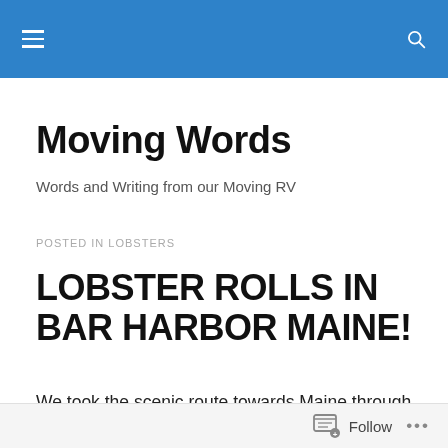Moving Words — site navigation header
Moving Words
Words and Writing from our Moving RV
POSTED IN LOBSTERS
LOBSTER ROLLS IN BAR HARBOR MAINE!
We took the scenic route towards Maine through Vermont. Unfortunately, we took one wrong turn and ended up on a road that had a 10 foot covered bridge.  Yes, we had to
Follow ...